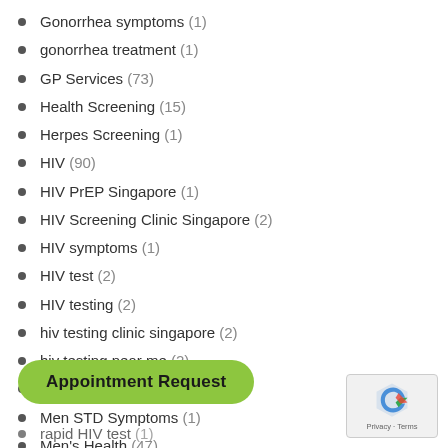Gonorrhea symptoms (1)
gonorrhea treatment (1)
GP Services (73)
Health Screening (15)
Herpes Screening (1)
HIV (90)
HIV PrEP Singapore (1)
HIV Screening Clinic Singapore (2)
HIV symptoms (1)
HIV test (2)
HIV testing (2)
hiv testing clinic singapore (2)
hiv testing near me (2)
Infectious Disease (8)
Men STD Symptoms (1)
Men's Health (47)
People living with HIV (16)
rapid HIV test (1)